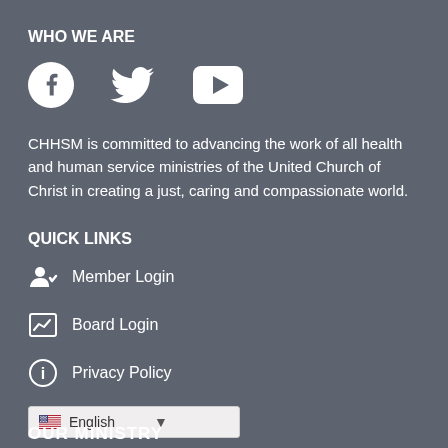WHO WE ARE
[Figure (illustration): Three social media icons: Facebook circle logo, Twitter bird logo, YouTube play button logo]
CHHSM is committed to advancing the work of all health and human service ministries of the United Church of Christ in creating a just, caring and compassionate world.
QUICK LINKS
Member Login
Board Login
Privacy Policy
English (language selector)
OUR MINISTRY